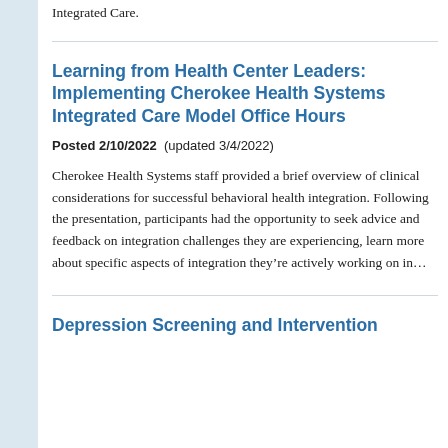Integrated Care.
Learning from Health Center Leaders: Implementing Cherokee Health Systems Integrated Care Model Office Hours
Posted 2/10/2022  (updated 3/4/2022)
Cherokee Health Systems staff provided a brief overview of clinical considerations for successful behavioral health integration. Following the presentation, participants had the opportunity to seek advice and feedback on integration challenges they are experiencing, learn more about specific aspects of integration they’re actively working on in…
Depression Screening and Intervention